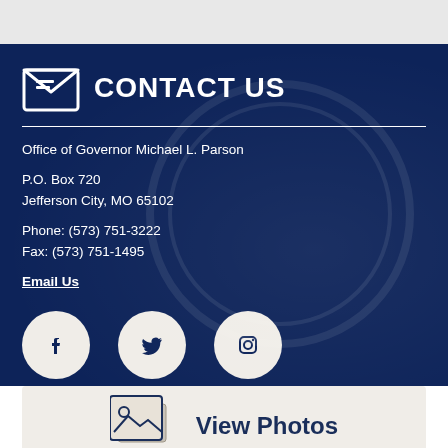CONTACT US
Office of Governor Michael L. Parson
P.O. Box 720
Jefferson City, MO 65102
Phone: (573) 751-3222
Fax: (573) 751-1495
Email Us
[Figure (illustration): Social media icons: Facebook, Twitter, Instagram in white circles on dark blue background]
[Figure (illustration): View Photos button with photo stack icon on light beige background]